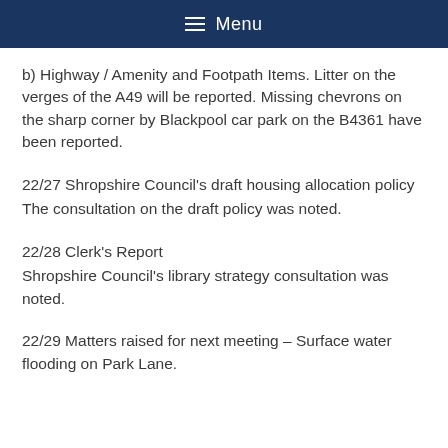≡ Menu
b) Highway / Amenity and Footpath Items. Litter on the verges of the A49 will be reported. Missing chevrons on the sharp corner by Blackpool car park on the B4361 have been reported.
22/27 Shropshire Council's draft housing allocation policy
The consultation on the draft policy was noted.
22/28 Clerk's Report
Shropshire Council's library strategy consultation was noted.
22/29 Matters raised for next meeting – Surface water flooding on Park Lane.